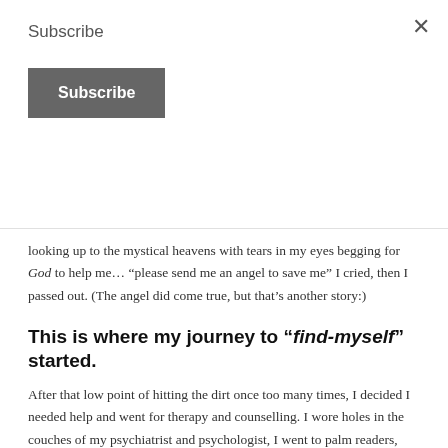Subscribe
Subscribe
looking up to the mystical heavens with tears in my eyes begging for God to help me… "please send me an angel to save me" I cried, then I passed out. (The angel did come true, but that's another story:)
This is where my journey to "find-myself" started.
After that low point of hitting the dirt once too many times, I decided I needed help and went for therapy and counselling. I wore holes in the couches of my psychiatrist and psychologist, I went to palm readers, energy workers and some spooky fortune tellers. I read tons of books, sang the